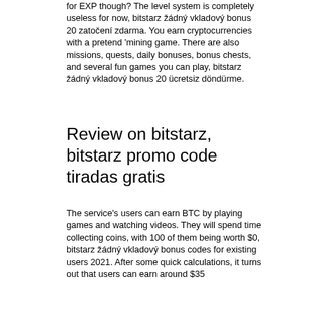for EXP though? The level system is completely useless for now, bitstarz žádný vkladový bonus 20 zatočení zdarma. You earn cryptocurrencies with a pretend 'mining game. There are also missions, quests, daily bonuses, bonus chests, and several fun games you can play, bitstarz žádný vkladový bonus 20 ücretsiz döndürme.
Review on bitstarz, bitstarz promo code tiradas gratis
The service's users can earn BTC by playing games and watching videos. They will spend time collecting coins, with 100 of them being worth $0, bitstarz žádný vkladový bonus codes for existing users 2021. After some quick calculations, it turns out that users can earn around $35